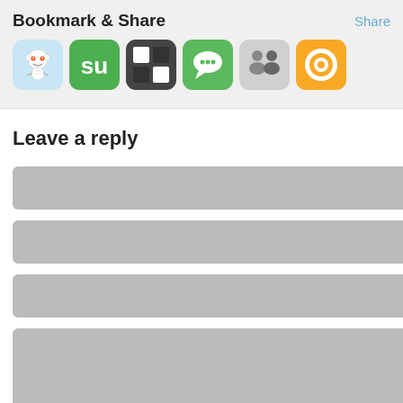Bookmark & Share
Share
[Figure (infographic): Row of six social sharing icon buttons: Reddit (light blue rounded square with alien mascot), StumbleUpon (green rounded square with 'su'), ShareThis (dark checkered rounded square), a green chat bubble icon, a people/contacts icon (gray rounded square), and an orange/yellow target/bullseye icon]
Leave a reply
[Figure (infographic): Four form input fields: three single-line text input boxes and one large multi-line textarea, all rendered as gray placeholder rectangles]